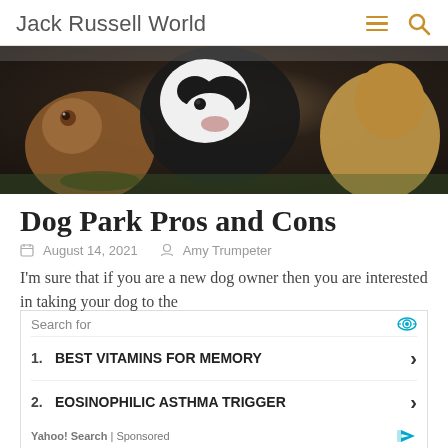Jack Russell World
[Figure (photo): Close-up photo of multiple dogs interacting, including a black and white dog and a brown dog, in a grassy outdoor setting.]
Dog Park Pros and Cons
August 14, 2021   Amy Trumpeter
I'm sure that if you are a new dog owner then you are interested in taking your dog to the
Search for
1. BEST VITAMINS FOR MEMORY
2. EOSINOPHILIC ASTHMA TRIGGER
Yahoo! Search | Sponsored